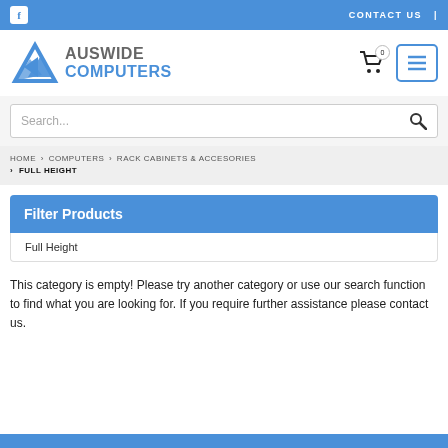f   CONTACT US  |
[Figure (logo): Auswide Computers logo with blue geometric arrow/mountain icon and text AUSWIDE COMPUTERS]
Search...
HOME  >  COMPUTERS  >  RACK CABINETS & ACCESORIES  >  FULL HEIGHT
Filter Products
Full Height
This category is empty! Please try another category or use our search function to find what you are looking for. If you require further assistance please contact us.